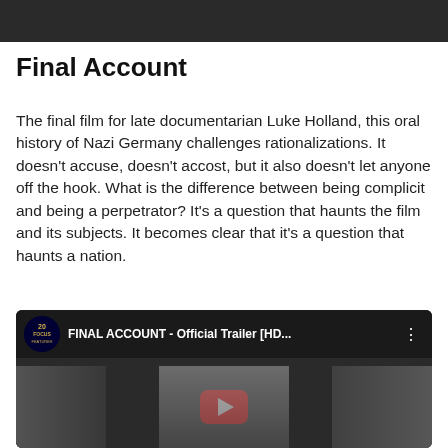[Figure (photo): Dark top image strip showing a scene from the film Final Account]
Final Account
The final film for late documentarian Luke Holland, this oral history of Nazi Germany challenges rationalizations. It doesn't accuse, doesn't accost, but it also doesn't let anyone off the hook. What is the difference between being complicit and being a perpetrator? It's a question that haunts the film and its subjects. It becomes clear that it's a question that haunts a nation.
[Figure (screenshot): YouTube video embed showing the official trailer for FINAL ACCOUNT [HD...] with a YouTube play button overlay on a dark background showing a young boy and other figures]